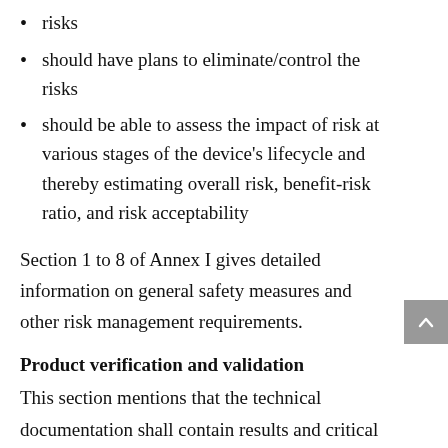risks
should have plans to eliminate/control the risks
should be able to assess the impact of risk at various stages of the device's lifecycle and thereby estimating overall risk, benefit-risk ratio, and risk acceptability
Section 1 to 8 of Annex I gives detailed information on general safety measures and other risk management requirements.
Product verification and validation
This section mentions that the technical documentation shall contain results and critical analyses of all verification and validation tests/studies. Some significant